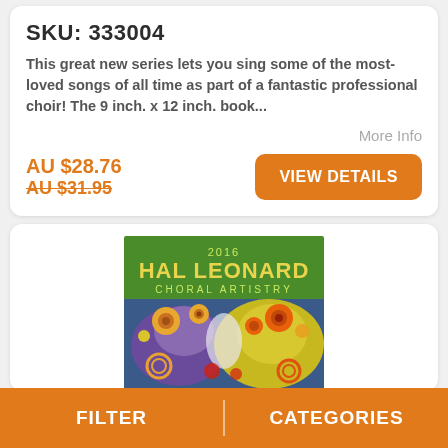SKU: 333004
This great new series lets you sing some of the most-loved songs of all time as part of a fantastic professional choir! The 9 inch. x 12 inch. book...
More Info
AU $28.76
AU $31.95
VIEW DETAILS
[Figure (photo): 2016 Hal Leonard Choral Artistry book cover with colorful abstract bird illustration on green background]
FILTER | CATEGORIES